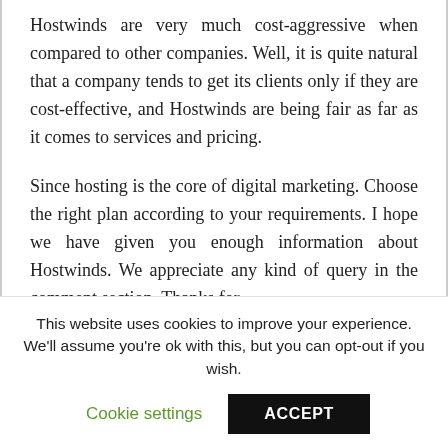Hostwinds are very much cost-aggressive when compared to other companies. Well, it is quite natural that a company tends to get its clients only if they are cost-effective, and Hostwinds are being fair as far as it comes to services and pricing.
Since hosting is the core of digital marketing. Choose the right plan according to your requirements. I hope we have given you enough information about Hostwinds. We appreciate any kind of query in the comment section. Thanks for
This website uses cookies to improve your experience. We'll assume you're ok with this, but you can opt-out if you wish.